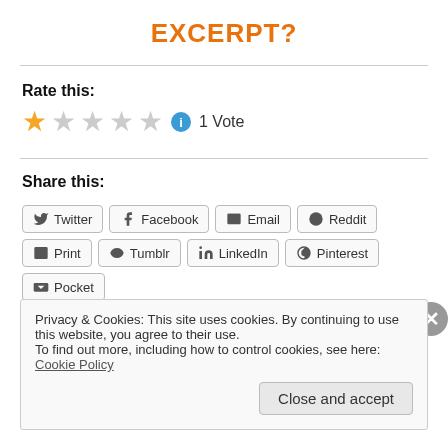EXCERPT?
Rate this:
[Figure (other): Star rating: 1 filled star, 4 empty stars, info icon, text '1 Vote']
Share this:
[Figure (other): Share buttons: Twitter, Facebook, Email, Reddit, Print, Tumblr, LinkedIn, Pinterest, Pocket]
Privacy & Cookies: This site uses cookies. By continuing to use this website, you agree to their use.
To find out more, including how to control cookies, see here: Cookie Policy
Close and accept